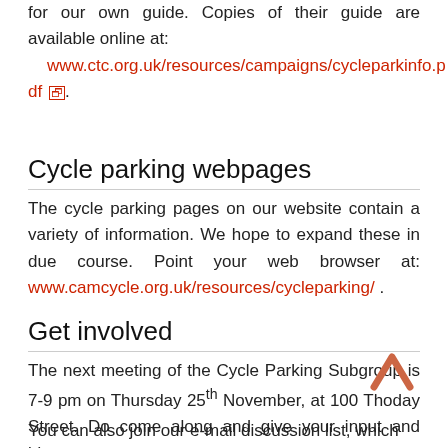for our own guide. Copies of their guide are available online at: www.ctc.org.uk/resources/campaigns/cycleparkinfo.pdf.
Cycle parking webpages
The cycle parking pages on our website contain a variety of information. We hope to expand these in due course. Point your web browser at: www.camcycle.org.uk/resources/cycleparking/ .
Get involved
The next meeting of the Cycle Parking Subgroup is 7-9 pm on Thursday 25th November, at 100 Thoday Street. Do come along and give your input and ideas.
You can also join our e-mail discussion list, which